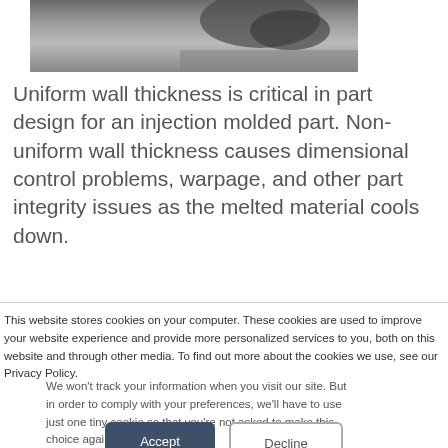[Figure (photo): Close-up photo of a dark injection molded part on a surface, partially visible at top of page]
Uniform wall thickness is critical in part design for an injection molded part. Non-uniform wall thickness causes dimensional control problems, warpage, and other part integrity issues as the melted material cools down.
This website stores cookies on your computer. These cookies are used to improve your website experience and provide more personalized services to you, both on this website and through other media. To find out more about the cookies we use, see our Privacy Policy.
We won't track your information when you visit our site. But in order to comply with your preferences, we'll have to use just one tiny cookie so that you're not asked to make this choice again.